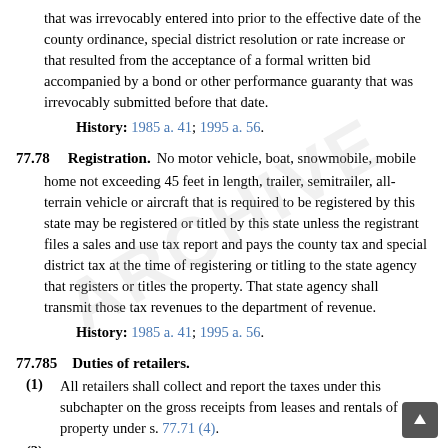that was irrevocably entered into prior to the effective date of the county ordinance, special district resolution or rate increase or that resulted from the acceptance of a formal written bid accompanied by a bond or other performance guaranty that was irrevocably submitted before that date.
History: 1985 a. 41; 1995 a. 56.
77.78   Registration.
No motor vehicle, boat, snowmobile, mobile home not exceeding 45 feet in length, trailer, semitrailer, all-terrain vehicle or aircraft that is required to be registered by this state may be registered or titled by this state unless the registrant files a sales and use tax report and pays the county tax and special district tax at the time of registering or titling to the state agency that registers or titles the property. That state agency shall transmit those tax revenues to the department of revenue.
History: 1985 a. 41; 1995 a. 56.
77.785   Duties of retailers.
(1) All retailers shall collect and report the taxes under this subchapter on the gross receipts from leases and rentals of property under s. 77.71 (4).
(2) Prior to registration or titling, boat, all-terrain vehicle, trailer and semi-trailer dealers and licensed aircraft, motor vehicle, mobile home and snowmobile dealers shall collect the taxes under this subchapter on sales of items under s. 77.71 (4). dealer shall remit those taxes to the department of revenue.